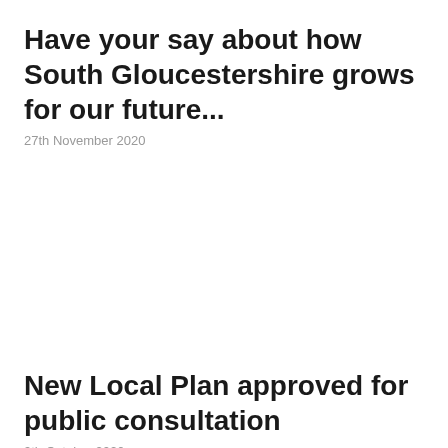Have your say about how South Gloucestershire grows for our future...
27th November 2020
New Local Plan approved for public consultation
9th October 2020